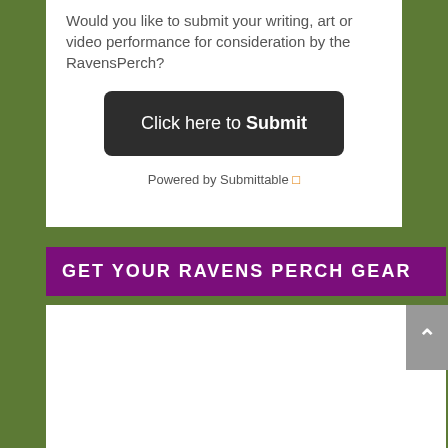Would you like to submit your writing, art or video performance for consideration by the RavensPerch?
[Figure (screenshot): Dark rounded button with text 'Click here to Submit']
Powered by Submittable
GET YOUR RAVENS PERCH GEAR